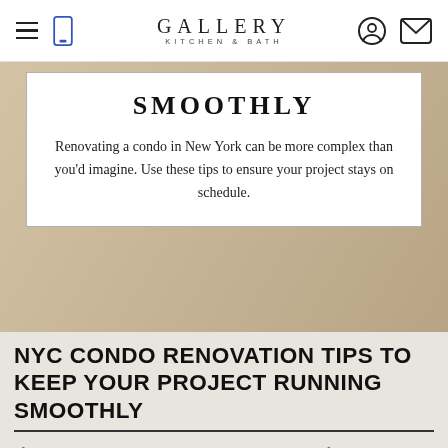GALLERY KITCHEN & BATH
SMOOTHLY
Renovating a condo in New York can be more complex than you'd imagine. Use these tips to ensure your project stays on schedule.
[Figure (photo): Background photo of kitchen renovation, warm tan/beige tones visible behind white card overlay]
NYC CONDO RENOVATION TIPS TO KEEP YOUR PROJECT RUNNING SMOOTHLY
If you're working on a condo renovation in NYC, our five step checklist will help ensure success.